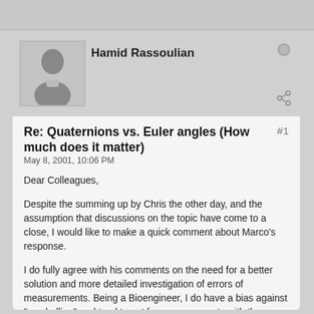[Figure (other): Forum post card with user avatar of Hamid Rassoulian (silhouette placeholder), username, online status indicator, and share icon]
Re: Quaternions vs. Euler angles (How much does it matter) #1
May 8, 2001, 10:06 PM
Dear Colleagues,
Despite the summing up by Chris the other day, and the assumption that discussions on the topic have come to a close, I would like to make a quick comment about Marco's response.
I do fully agree with his comments on the need for a better solution and more detailed investigation of errors of measurements. Being a Bioengineer, I do have a bias against "eye balling" and tend to opt for measurements with the appropriate instrumentation.
This, however, does not change the fact that biomechanical measurements are not as helpful as they could be to clinical decision making. It is only recently that Dr. Viceconti himself complained, and quiet rightly, of the lack of funding for biomechanics by the European